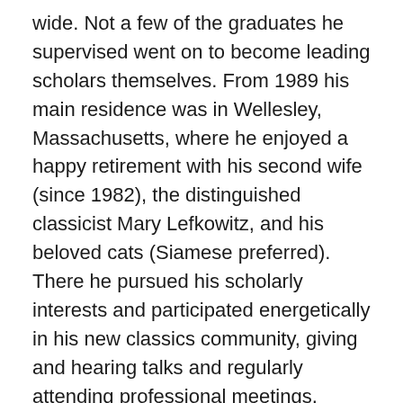wide. Not a few of the graduates he supervised went on to become leading scholars themselves. From 1989 his main residence was in Wellesley, Massachusetts, where he enjoyed a happy retirement with his second wife (since 1982), the distinguished classicist Mary Lefkowitz, and his beloved cats (Siamese preferred). There he pursued his scholarly interests and participated energetically in his new classics community, giving and hearing talks and regularly attending professional meetings, engaging whomever sought his conversation and enriching paper sessions with his pungent questions and often provocative comments.
As a personality Hugh radiated the same enthusiasm that animates his writing, but even more intensely: for him, classical scholarship was “great fun” to be enjoyed with gusto and at fever pitch every waking hour, and he wanted everyone in his company to